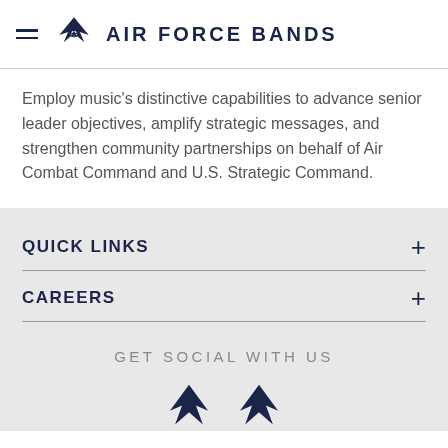AIR FORCE BANDS
Employ music's distinctive capabilities to advance senior leader objectives, amplify strategic messages, and strengthen community partnerships on behalf of Air Combat Command and U.S. Strategic Command.
QUICK LINKS
CAREERS
GET SOCIAL WITH US